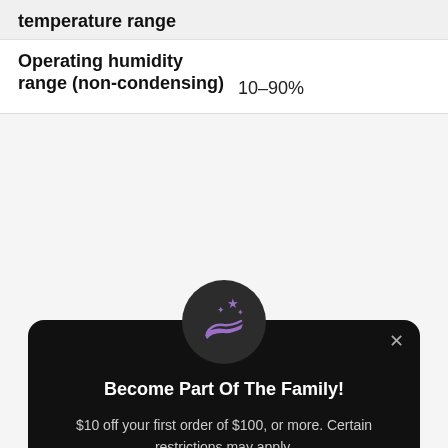| Specification | Value |
| --- | --- |
| temperature range |  |
| Operating humidity range (non-condensing) | 10–90% |
[Figure (illustration): Dark circular icon with a purple hand holding stars, representing a rewards or welcome graphic.]
Become Part Of The Family!
$10 off your first order of $100, or more. Certain restrictions may apply.
Register
Already have an account? Sign in